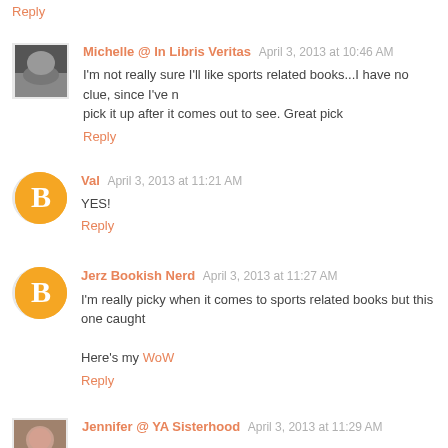Reply
Michelle @ In Libris Veritas  April 3, 2013 at 10:46 AM
I'm not really sure I'll like sports related books...I have no clue, since I've never read one. Maybe I'll pick it up after it comes out to see. Great pick
Reply
Val  April 3, 2013 at 11:21 AM
YES!
Reply
Jerz Bookish Nerd  April 3, 2013 at 11:27 AM
I'm really picky when it comes to sports related books but this one caught my eye!
Here's my WoW
Reply
Jennifer @ YA Sisterhood  April 3, 2013 at 11:29 AM